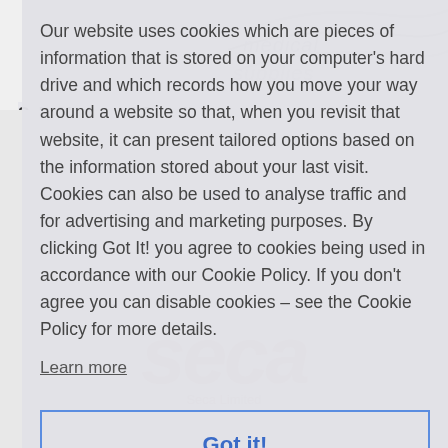[Figure (logo): Medical supplies company logo in top right corner, partially visible, with 'medical supplies' text. Seca watermark in pink/red italic letters overlaid on the page. 'Seca Limited' text below watermark.]
Our website uses cookies which are pieces of information that is stored on your computer's hard drive and which records how you move your way around a website so that, when you revisit that website, it can present tailored options based on the information stored about your last visit. Cookies can also be used to analyse traffic and for advertising and marketing purposes. By clicking Got It! you agree to cookies being used in accordance with our Cookie Policy. If you don't agree you can disable cookies – see the Cookie Policy for more details.
Learn more
Got it!
1 2 3 4 Next